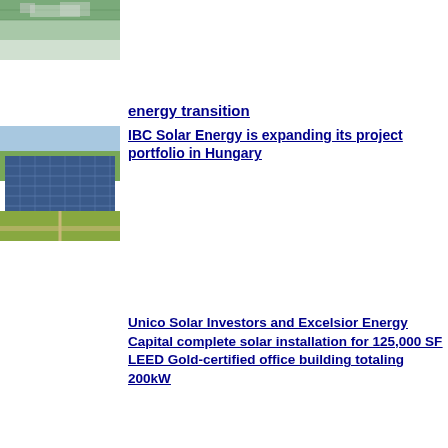[Figure (photo): Partial photo at top, appears to be solar panels or similar equipment, cropped]
energy transition
[Figure (photo): Aerial view of a large solar farm field with rows of solar panels, green fields surrounding it]
IBC Solar Energy is expanding its project portfolio in Hungary
Unico Solar Investors and Excelsior Energy Capital complete solar installation for 125,000 SF LEED Gold-certified office building totaling 200kW